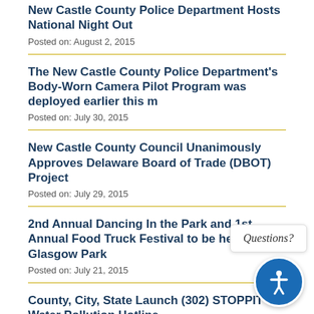New Castle County Police Department Hosts National Night Out
Posted on: August 2, 2015
The New Castle County Police Department's Body-Worn Camera Pilot Program was deployed earlier this m
Posted on: July 30, 2015
New Castle County Council Unanimously Approves Delaware Board of Trade (DBOT) Project
Posted on: July 29, 2015
2nd Annual Dancing In the Park and 1st Annual Food Truck Festival to be hel Glasgow Park
Posted on: July 21, 2015
County, City, State Launch (302) STOPPIT Water Pollution Hotline